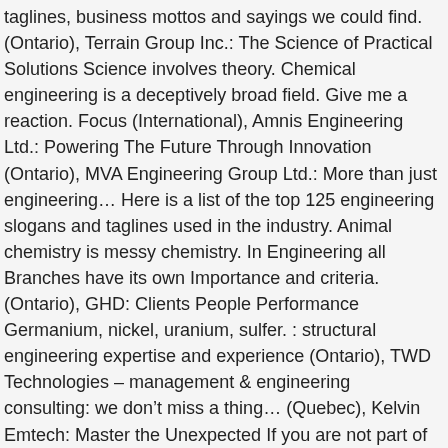taglines, business mottos and sayings we could find. (Ontario), Terrain Group Inc.: The Science of Practical Solutions Science involves theory. Chemical engineering is a deceptively broad field. Give me a reaction. Focus (International), Amnis Engineering Ltd.: Powering The Future Through Innovation (Ontario), MVA Engineering Group Ltd.: More than just engineering… Here is a list of the top 125 engineering slogans and taglines used in the industry. Animal chemistry is messy chemistry. In Engineering all Branches have its own Importance and criteria. (Ontario), GHD: Clients People Performance Germanium, nickel, uranium, sulfer. : structural engineering expertise and experience (Ontario), TWD Technologies – management & engineering consulting: we don’t miss a thing… (Quebec), Kelvin Emtech: Master the Unexpected If you are not part of the solution, you are part of the precipitate. Carbon is a girl’s best friend. (International), Rutter Inc.: Reliable. All the good ones argon. The Department's offices and research laboratories are located in the M.H. After studying how these firms have identified